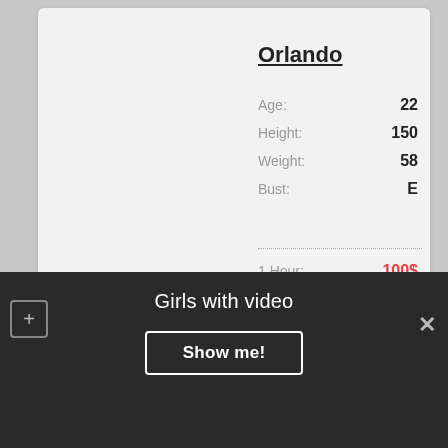Orlando
| Field | Value |
| --- | --- |
| Age: | 22 |
| Height: | 150 |
| Weight: | 58 |
| Bust: | E |
| 1 Hour: | 100$ |
| 2 hours: | +80$ |
| Overnight: | 600$ |
NOW AVAILABLE
[Figure (photo): Photo of Roxanne with RUSALKLCZ watermark]
Roxanne
Age: 20
Girls with video
Show me!